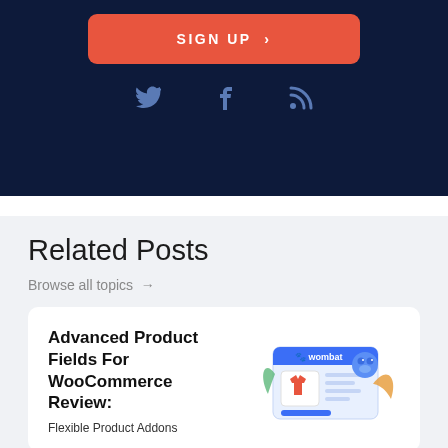[Figure (screenshot): Dark navy banner with orange 'SIGN UP >' button and three social media icons (Twitter bird, Facebook f, RSS feed) in muted blue]
Related Posts
Browse all topics →
[Figure (illustration): Card with Wombat product logo and illustration showing a t-shirt on a product page with orange shirt icon, blue wombat mascot, and orange wing/leaf decorations]
Advanced Product Fields For WooCommerce Review:
Flexible Product Addons